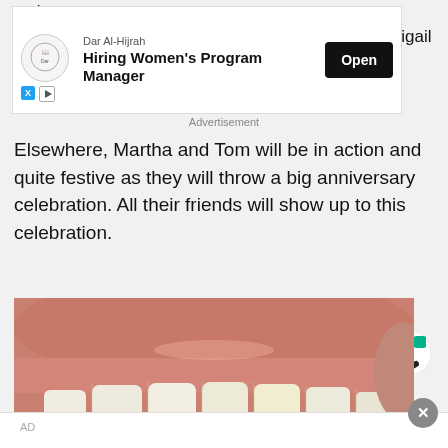as it tries ... Abigail put up or
[Figure (screenshot): Advertisement banner for Dar Al-Hijrah hiring Women's Program Manager with Open button]
Advertisement
Elsewhere, Martha and Tom will be in action and quite festive as they will throw a big anniversary celebration. All their friends will show up to this celebration.
[Figure (logo): Taboola logo - letter C with green accent]
[Figure (photo): Close-up photo of a person smiling showing teeth and gums]
AD